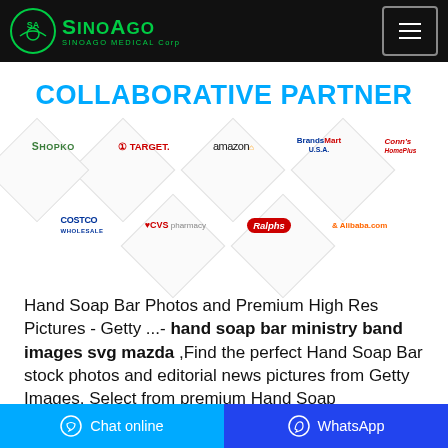SinoAgo MEDICAL Corp
COLLABORATIVE PARTNER
[Figure (logo): Partner logos grid: Shopko, Target, amazon, BrandsMart USA, Conn's HomePlus, Costco Wholesale, CVS pharmacy, Ralphs, Alibaba.com — arranged in two rows on diamond/hexagon backgrounds]
Hand Soap Bar Photos and Premium High Res Pictures - Getty ...- hand soap bar ministry band images svg mazda ,Find the perfect Hand Soap Bar stock photos and editorial news pictures from Getty Images. Select from premium Hand Soap
Chat online | WhatsApp